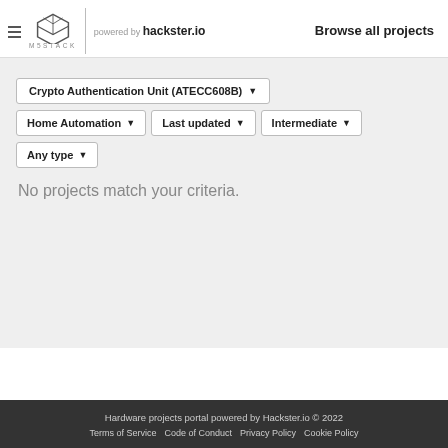M5STACK powered by hackster.io   Browse all projects
Crypto Authentication Unit (ATECC608B) ▾
Home Automation ▾
Last updated ▾
Intermediate ▾
Any type ▾
No projects match your criteria.
Hardware projects portal powered by Hackster.io © 2022
Terms of Service   Code of Conduct   Privacy Policy   Cookie Policy